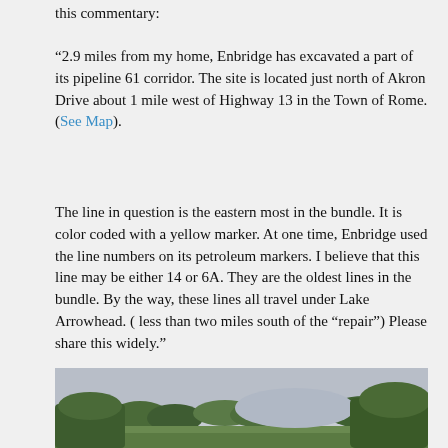this commentary:
“2.9 miles from my home, Enbridge has excavated a part of its pipeline 61 corridor. The site is located just north of Akron Drive about 1 mile west of Highway 13 in the Town of Rome. (See Map).
The line in question is the eastern most in the bundle. It is color coded with a yellow marker. At one time, Enbridge used the line numbers on its petroleum markers. I believe that this line may be either 14 or 6A. They are the oldest lines in the bundle. By the way, these lines all travel under Lake Arrowhead. ( less than two miles south of the “repair”) Please share this widely.”
[Figure (photo): Outdoor landscape photo showing trees and open sky, taken near the pipeline excavation site.]